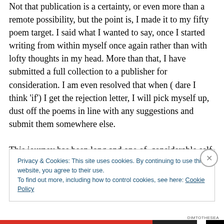Not that publication is a certainty, or even more than a remote possibility, but the point is, I made it to my fifty poem target. I said what I wanted to say, once I started writing from within myself once again rather than with lofty thoughts in my head. More than that, I have submitted a full collection to a publisher for consideration. I am even resolved that when ( dare I think 'if') I get the rejection letter, I will pick myself up, dust off the poems in line with any suggestions and submit them somewhere else.

This journey has been long and one of  considerable self-searching about why I need to write, who might want to
Privacy & Cookies: This site uses cookies. By continuing to use this website, you agree to their use.
To find out more, including how to control cookies, see here: Cookie Policy
Close and accept